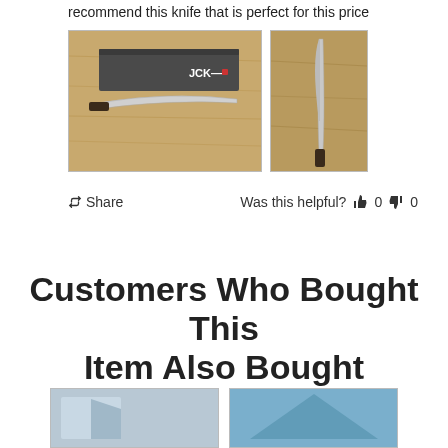recommend this knife that is perfect for this price
[Figure (photo): Two photos of a Japanese chef's knife: left photo shows the knife with its JCK-branded box on a wooden cutting board; right photo shows the knife blade standing upright on a wooden cutting board.]
Share   Was this helpful?  👍 0  👎 0
Customers Who Bought This Item Also Bought
[Figure (photo): Two product thumbnail images partially visible at the bottom of the page.]